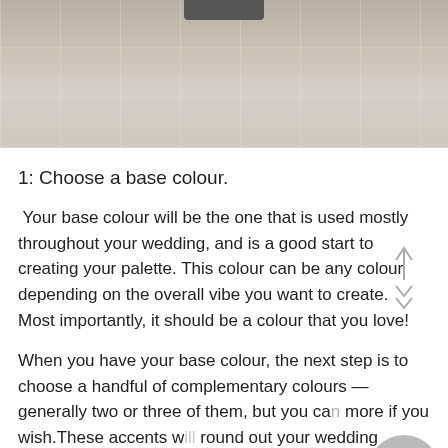[Figure (photo): Photo of a linen or fabric table covering, neutral beige/taupe color with subtle woven texture, partially visible dark object at top]
1: Choose a base colour.
Your base colour will be the one that is used mostly throughout your wedding, and is a good start to creating your palette. This colour can be any colour depending on the overall vibe you want to create. Most importantly, it should be a colour that you love!
When you have your base colour, the next step is to choose a handful of complementary colours — generally two or three of them, but you can more if you wish.These accents will round out your wedding palette.